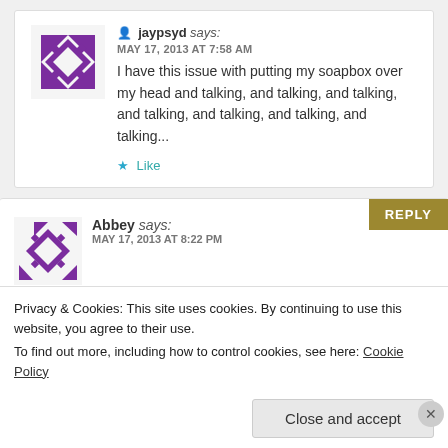jaypsyd says: MAY 17, 2013 AT 7:58 AM — I have this issue with putting my soapbox over my head and talking, and talking, and talking, and talking, and talking, and talking, and talking... Like
Abbey says: MAY 17, 2013 AT 8:22 PM
Privacy & Cookies: This site uses cookies. By continuing to use this website, you agree to their use. To find out more, including how to control cookies, see here: Cookie Policy
Close and accept